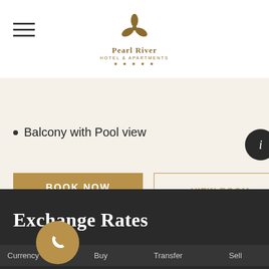[Figure (logo): Pearl River Hotel & Apartments five-star logo with gold trefoil emblem]
Balcony with Pool view
BOOK NOW
VIEW ROOM
Exchange Rates
| Currency Code | Buy | Transfer | Sell |
| --- | --- | --- | --- |
| USD | 33.33?? | 33.41.?? | 33.61.?? |